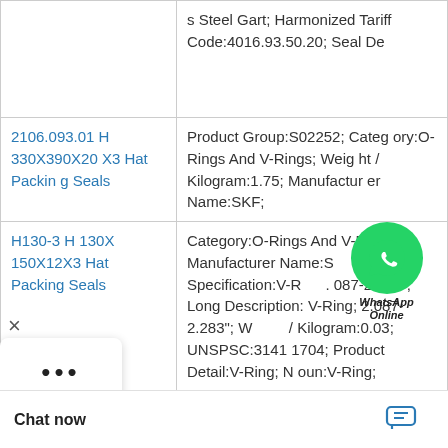| Product | Details |
| --- | --- |
|  | s Steel Gart; Harmonized Tariff Code:4016.93.50.20; Seal De |
| 2106.093.01 H 330X390X20 X3 Hat Packing Seals | Product Group:S02252; Category:O-Rings And V-Rings; Weight / Kilogram:1.75; Manufacturer Name:SKF; |
| H130-3 H 130X 150X12X3 Hat Packing Seals | Category:O-Rings And V-Rings; Manufacturer Name:S... Product Specification:V-R...087-2.283"; Long Description: V-Ring; 2.087-2.283"; Weight / Kilogram:0.03; UNSPSC:31411704; Product Detail:V-Ring; Noun:V-Ring; |
|  | Long Description:11-3/16 Shaft Dia; Generic Design Code:C_R_HS7; Manufacturer Item Nu...7; Keyword String: Bore:12.188 Inch |
[Figure (other): WhatsApp Online green circle icon with phone symbol and 'WhatsApp Online' text overlay]
×
···
Chat now